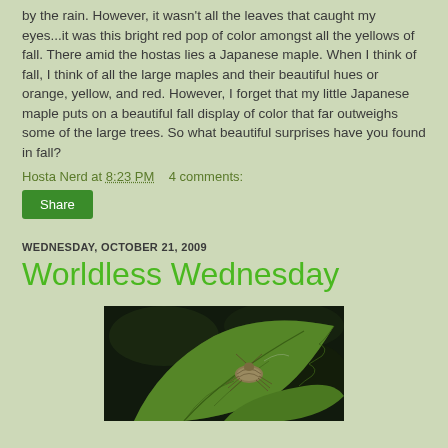by the rain. However, it wasn't all the leaves that caught my eyes...it was this bright red pop of color amongst all the yellows of fall. There amid the hostas lies a Japanese maple. When I think of fall, I think of all the large maples and their beautiful hues or orange, yellow, and red. However, I forget that my little Japanese maple puts on a beautiful fall display of color that far outweighs some of the large trees. So what beautiful surprises have you found in fall?
Hosta Nerd at 8:23 PM    4 comments:
Share
WEDNESDAY, OCTOBER 21, 2009
Worldless Wednesday
[Figure (photo): Close-up photograph of an insect (stink bug or similar) on a green leaf against a dark background]